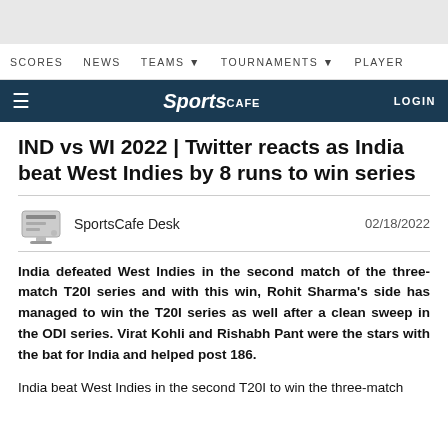SCORES  NEWS  TEAMS ▾  TOURNAMENTS ▾  PLAYER
[Figure (logo): SportsCafe logo on dark navy background with hamburger menu and LOGIN button]
IND vs WI 2022 | Twitter reacts as India beat West Indies by 8 runs to win series
SportsCafe Desk  02/18/2022
India defeated West Indies in the second match of the three-match T20I series and with this win, Rohit Sharma's side has managed to win the T20I series as well after a clean sweep in the ODI series. Virat Kohli and Rishabh Pant were the stars with the bat for India and helped post 186.
India beat West Indies in the second T20I to win the three-match